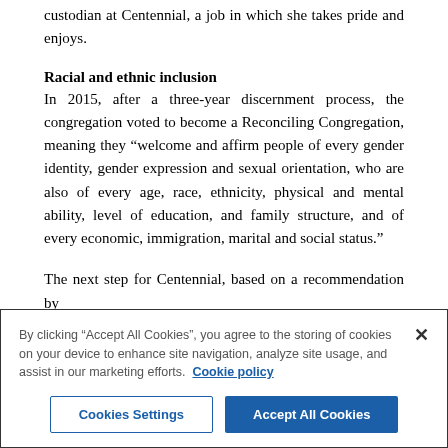custodian at Centennial, a job in which she takes pride and enjoys.
Racial and ethnic inclusion
In 2015, after a three-year discernment process, the congregation voted to become a Reconciling Congregation, meaning they “welcome and affirm people of every gender identity, gender expression and sexual orientation, who are also of every age, race, ethnicity, physical and mental ability, level of education, and family structure, and of every economic, immigration, marital and social status.”
The next step for Centennial, based on a recommendation by
By clicking “Accept All Cookies”, you agree to the storing of cookies on your device to enhance site navigation, analyze site usage, and assist in our marketing efforts. Cookie policy
Cookies Settings
Accept All Cookies